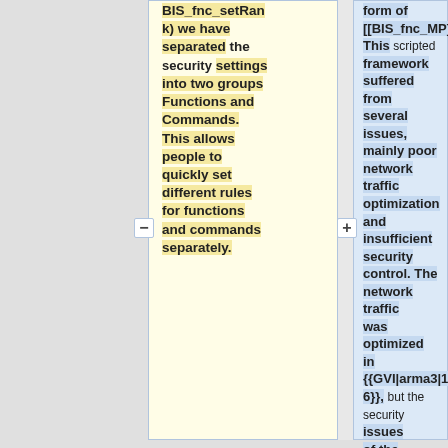BIS_fnc_setRank) we have separated the security settings into two groups Functions and Commands. This allows people to quickly set different rules for functions and commands separately.
form of [[BIS_fnc_MP]]. This scripted framework suffered from several issues, mainly poor network traffic optimization and insufficient security control. The network traffic was optimized in {{GVI|arma3|1.46}}, but the security issues of the scripted framework could not be fixed properly.